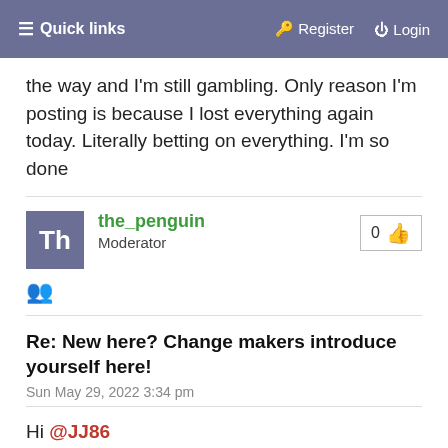≡ Quick links   Register   Login
the way and I'm still gambling. Only reason I'm posting is because I lost everything again today. Literally betting on everything. I'm so done
the_penguin
Moderator
0 👍
🐾
Re: New here? Change makers introduce yourself here!
Sun May 29, 2022 3:34 pm
Hi @JJ86